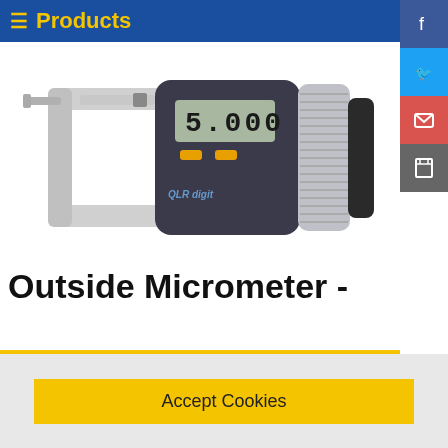≡ Products
[Figure (photo): Digital outside micrometer with LCD display showing 5.000, silver and black body with OLR branding]
Outside Micrometer -
Accept Cookies
To help improve our website we use cookies, by using this site you agree that we may store these on your device. For more information on what cookies are and why we use them please read our Privacy Policy here.